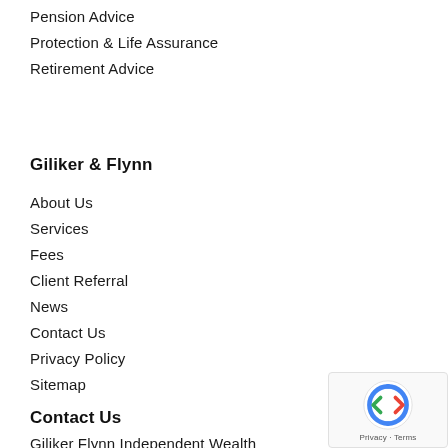Pension Advice
Protection & Life Assurance
Retirement Advice
Giliker & Flynn
About Us
Services
Fees
Client Referral
News
Contact Us
Privacy Policy
Sitemap
Contact Us
Giliker Flynn Independent Wealth
2 Gower Street